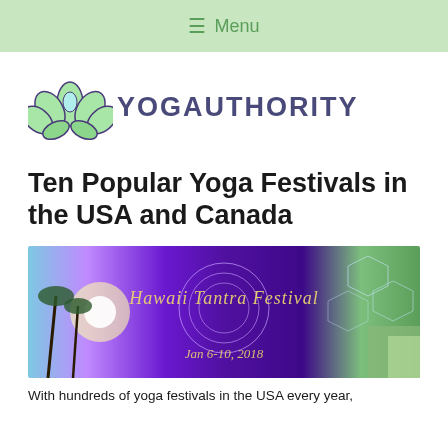≡  Menu
[Figure (logo): YogAuthority logo: green lotus flower icon with the text YOGAUTHORITY in dark purple uppercase letters]
Ten Popular Yoga Festivals in the USA and Canada
[Figure (photo): Hawaii Tantra Festival banner image showing a tropical beach with palm trees on the left, a purple cosmic mandala design in the center, hexagonal geometric patterns on the right, with text reading 'Hawaii Tantra Festival Jan 6-10, 2018']
With hundreds of yoga festivals in the USA every year,